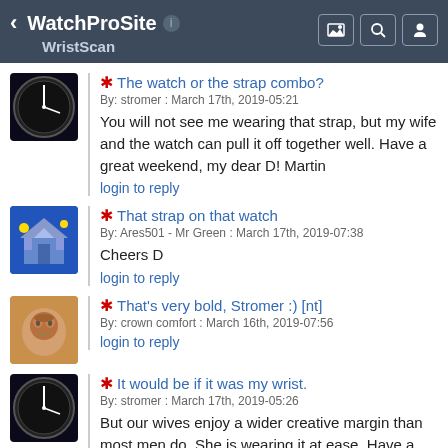WatchProSite — WristScan
The watch or the strap combo?
By: stromer : March 17th, 2019-05:21
You will not see me wearing that strap, but my wife and the watch can pull it off together well. Have a great weekend, my dear D! Martin
login to reply
That strap on that watch
By: Ares501 - Mr Green : March 17th, 2019-07:38
Cheers D
login to reply
That's very bold, Stromer :) [nt]
By: crown comfort : March 16th, 2019-07:56
login to reply
It would be if it was my wrist.
By: stromer : March 17th, 2019-05:26
But our wives enjoy a wider creative margin than most men do. She is wearing it at ease. Have a nice